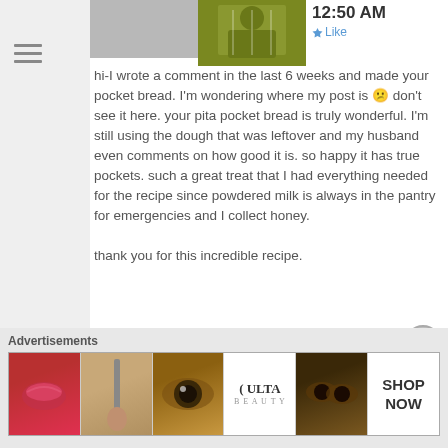12:50 AM
Like
hi-I wrote a comment in the last 6 weeks and made your pocket bread. I'm wondering where my post is 😕 don't see it here. your pita pocket bread is truly wonderful. I'm still using the dough that was leftover and my husband even comments on how good it is. so happy it has true pockets. such a great treat that I had everything needed for the recipe since powdered milk is always in the pantry for emergencies and I collect honey.
thank you for this incredible recipe.
Advertisements
[Figure (screenshot): Advertisement banner showing beauty products: lips with makeup, brush, eye with eyeshadow, Ulta Beauty logo, eyes with dramatic makeup, and SHOP NOW button]